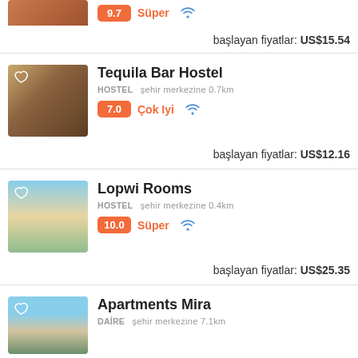9.7 Süper | başlayan fiyatlar: US$15.54
Tequila Bar Hostel
HOSTEL  şehir merkezine 0.7km
7.0  Çok Iyi
başlayan fiyatlar: US$12.16
Lopwi Rooms
HOSTEL  şehir merkezine 0.4km
10.0  Süper
başlayan fiyatlar: US$25.35
Apartments Mira
DAİRE  şehir merkezine 7.1km